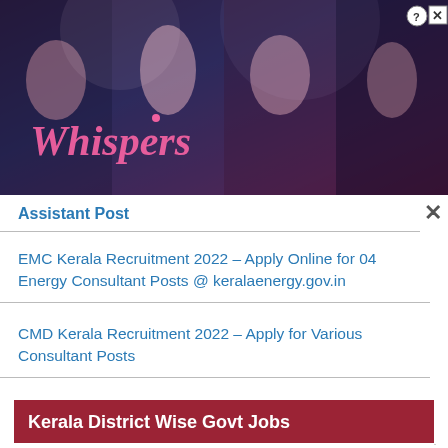[Figure (illustration): Advertisement banner for 'Whispers' app/game featuring illustrated romantic characters with pink logo text on a dark gradient background. Close icons visible in top-right corner.]
Assistant Post
EMC Kerala Recruitment 2022 – Apply Online for 04 Energy Consultant Posts @ keralaenergy.gov.in
CMD Kerala Recruitment 2022 – Apply for Various Consultant Posts
Kerala District Wise Govt Jobs
Alappuzha Govt Jobs 2022
Ernakulam Govt Jobs 2022
Idukki Govt Jobs 2022
Kannur Govt Jobs 2022